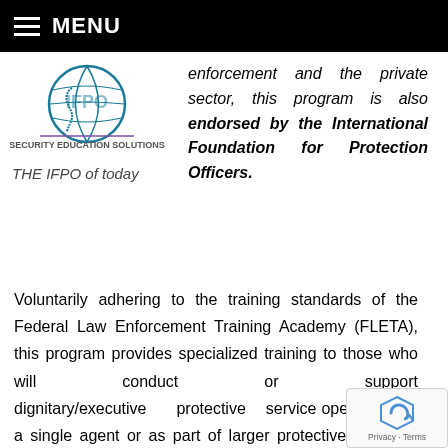MENU
[Figure (logo): IFPO Security Education Solutions globe logo with teal and blue colors]
THE IFPO of today
enforcement and the private sector, this program is also endorsed by the International Foundation for Protection Officers.
Voluntarily adhering to the training standards of the Federal Law Enforcement Training Academy (FLETA), this program provides specialized training to those who will conduct or support dignitary/executive protective service operations as a single agent or as part of larger protective detail for elected and other public officials, members of the court, corporate